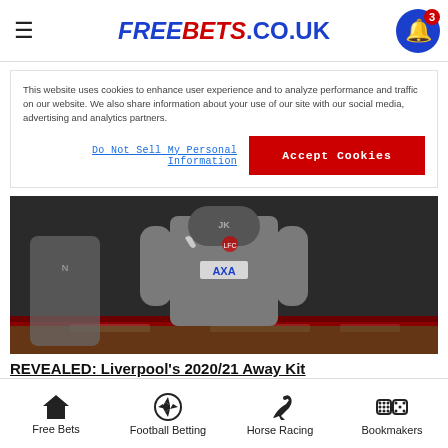FREEBETS.CO.UK
This website uses cookies to enhance user experience and to analyze performance and traffic on our website. We also share information about your use of our site with our social media, advertising and analytics partners.
Do Not Sell My Personal Information
Accept Cookies
[Figure (photo): A person wearing a Liverpool FC grey AXA training kit with a face covering, standing on a football pitch with red advertising boards in the background.]
REVEALED: Liverpool's 2020/21 Away Kit
Share this on
Free Bets  Football Betting  Horse Racing  Bookmakers